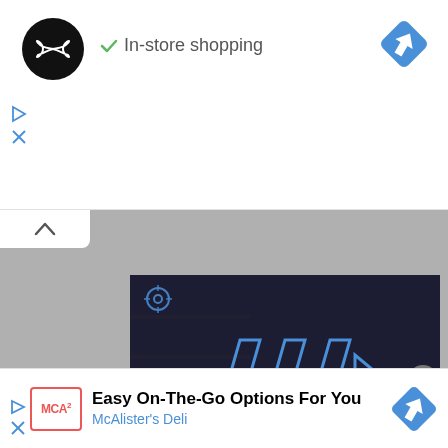[Figure (screenshot): Mobile app UI screenshot showing a business listing with 'In-store shopping' badge, a navigation/directions icon, a video player area with gray background and a dark video thumbnail with play controls and mute button, and an advertisement banner at the bottom for McAlister's Deli with 'Easy On-The-Go Options For You' text.]